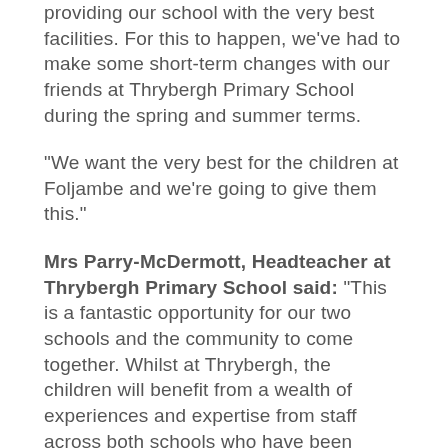providing our school with the very best facilities. For this to happen, we've had to make some short-term changes with our friends at Thrybergh Primary School during the spring and summer terms.
“We want the very best for the children at Foljambe and we’re going to give them this.”
Mrs Parry-McDermott, Headteacher at Thrybergh Primary School said: “This is a fantastic opportunity for our two schools and the community to come together. Whilst at Thrybergh, the children will benefit from a wealth of experiences and expertise from staff across both schools who have been working collaboratively together for